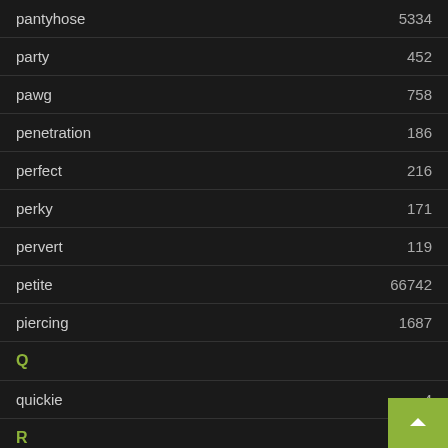pantyhose 5334
party 452
pawg 758
penetration 186
perfect 216
perky 171
pervert 119
petite 66742
piercing 1687
Q
quickie 4
R
real 436
redhead 9170
riding
rimming